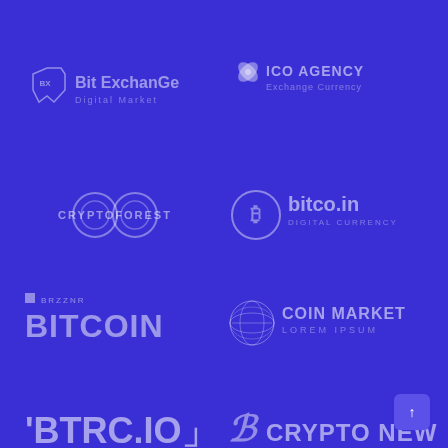[Figure (logo): Bit ExchanGe Digital Market logo - shield icon with BX letters and text]
[Figure (logo): ICO AGENCY Exchange Currency logo - four-petal flower icon and text]
[Figure (logo): CRYPTOFOREST logo - infinity loops circle symbol and text]
[Figure (logo): bitco.in Digital Currency logo - Bitcoin B circle icon and text]
[Figure (logo): BRZZNR BITCOIN logo - small square icon and large bold text]
[Figure (logo): COIN MARKET Lorem Ipsum logo - geometric sphere icon and text]
[Figure (logo): BTRC.IO logo - bracket-styled text]
[Figure (logo): CRYPTO NEWS logo - italic B icon and text]
[Figure (logo): ICONETWORK Lorem Ipsum logo - geometric diamond/polygon icon and text]
[Figure (logo): BITCO INFO. logo - diamond ring geometric icon and italic text]